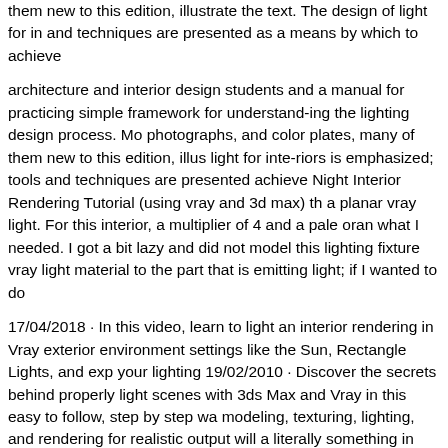them new to this edition, illustrate the text. The design of light for in and techniques are presented as a means by which to achieve
architecture and interior design students and a manual for practicing simple framework for understand-ing the lighting design process. Mo photographs, and color plates, many of them new to this edition, illus light for inte-riors is emphasized; tools and techniques are presented achieve Night Interior Rendering Tutorial (using vray and 3d max) th a planar vray light. For this interior, a multiplier of 4 and a pale oran what I needed. I got a bit lazy and did not model this lighting fixture vray light material to the part that is emitting light; if I wanted to do
17/04/2018 · In this video, learn to light an interior rendering in Vray exterior environment settings like the Sun, Rectangle Lights, and exp your lighting 19/02/2010 · Discover the secrets behind properly light scenes with 3ds Max and Vray in this easy to follow, step by step wa modeling, texturing, lighting, and rendering for realistic output will a literally something in here for everyone! Additional Files/ Plugins:
Rendering interior scenes with 3dsMax and V-Ray can sometimes be